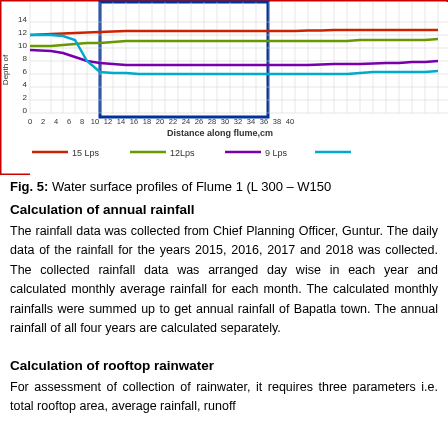[Figure (continuous-plot): Water surface profiles chart showing depth of water vs distance along flume for different flow rates (15 Lps, 12 Lps, 9 Lps, and another series). X-axis: Distance along flume in cm (0-40), Y-axis: Depth of water (0-14). Multiple declining curves shown in red, green, purple, and cyan colors. Chart has red outer border and blue inner rectangle outline.]
Fig. 5: Water surface profiles of Flume 1 (L 300 – W150
Calculation of annual rainfall
The rainfall data was collected from Chief Planning Officer, Guntur. The daily data of the rainfall for the years 2015, 2016, 2017 and 2018 was collected. The collected rainfall data was arranged day wise in each year and calculated monthly average rainfall for each month. The calculated monthly rainfalls were summed up to get annual rainfall of Bapatla town. The annual rainfall of all four years are calculated separately.
Calculation of rooftop rainwater
For assessment of collection of rainwater, it requires three parameters i.e. total rooftop area, average rainfall, runoff